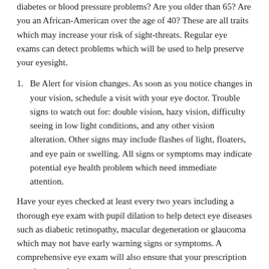diabetes or blood pressure problems? Are you older than 65? Are you an African-American over the age of 40? These are all traits which may increase your risk of sight-threats. Regular eye exams can detect problems which will be used to help preserve your eyesight.
Be Alert for vision changes. As soon as you notice changes in your vision, schedule a visit with your eye doctor. Trouble signs to watch out for: double vision, hazy vision, difficulty seeing in low light conditions, and any other vision alteration. Other signs may include flashes of light, floaters, and eye pain or swelling. All signs or symptoms may indicate potential eye health problem which need immediate attention.
Have your eyes checked at least every two years including a thorough eye exam with pupil dilation to help detect eye diseases such as diabetic retinopathy, macular degeneration or glaucoma which may not have early warning signs or symptoms. A comprehensive eye exam will also ensure that your prescription eyeglasses or lenses are up-to-date.